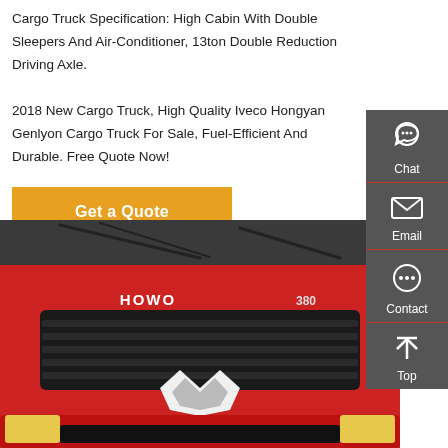Cargo Truck Specification: High Cabin With Double Sleepers And Air-Conditioner, 13ton Double Reduction Driving Axle.
2018 New Cargo Truck, High Quality Iveco Hongyan Genlyon Cargo Truck For Sale, Fuel-Efficient And Durable. Free Quote Now!
[Figure (other): Yellow 'Get a Quote' button]
[Figure (photo): Front view of a red HOWO 380 CNHTC heavy cargo truck cab]
[Figure (infographic): Right-side floating sidebar with Chat, Email, Contact, and Top icons on dark gray background]